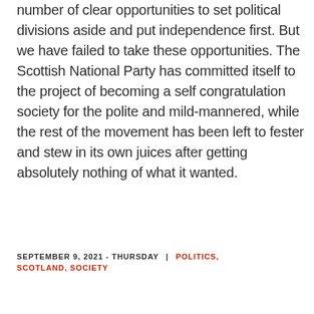number of clear opportunities to set political divisions aside and put independence first. But we have failed to take these opportunities. The Scottish National Party has committed itself to the project of becoming a self congratulation society for the polite and mild-mannered, while the rest of the movement has been left to fester and stew in its own juices after getting absolutely nothing of what it wanted.
SEPTEMBER 9, 2021 - THURSDAY | POLITICS, SCOTLAND, SOCIETY